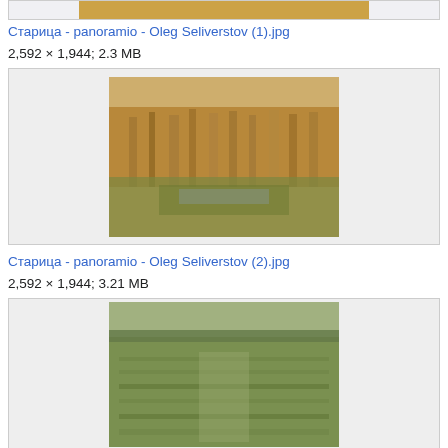[Figure (photo): Top cropped photo of landscape (partially visible at top of page)]
Старица - panoramio - Oleg Seliverstov (1).jpg
2,592 × 1,944; 2.3 MB
[Figure (photo): Photo of marshy landscape with dry reeds and grasses in warm golden tones]
Старица - panoramio - Oleg Seliverstov (2).jpg
2,592 × 1,944; 3.21 MB
[Figure (photo): Photo of open field/meadow landscape (partially visible at bottom of page)]